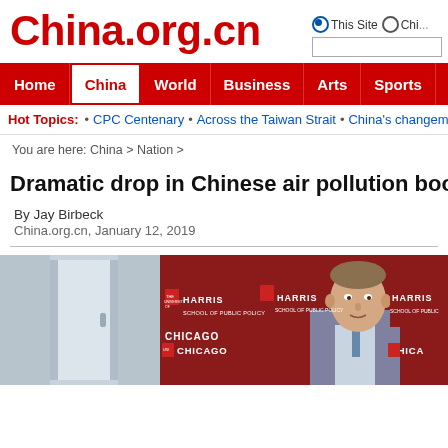China.org.cn
Home | China | World | Business | Arts | Sports | Travel | Opinion
Hot Topics: • CPC Centenary • Across the Taiwan Strait • China's changemakers •
You are here: China > Nation >
Dramatic drop in Chinese air pollution boos...
By Jay Birbeck
China.org.cn, January 12, 2019
[Figure (photo): A man speaking at a University of Chicago / Harris event against a dark red backdrop with university logos visible]